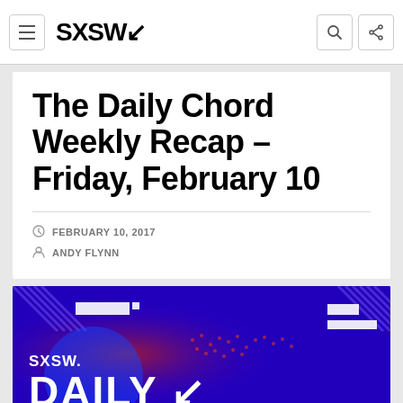SXSW
The Daily Chord Weekly Recap – Friday, February 10
FEBRUARY 10, 2017
ANDY FLYNN
[Figure (photo): SXSW Daily Chord banner image with purple/blue background showing 'SXSW. DAILY' text with decorative geometric elements]